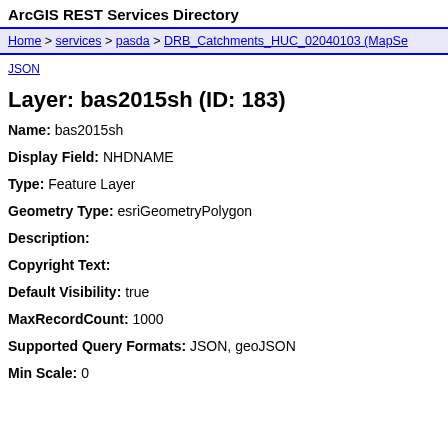ArcGIS REST Services Directory
Home > services > pasda > DRB_Catchments_HUC_02040103 (MapSe...
JSON
Layer: bas2015sh (ID: 183)
Name: bas2015sh
Display Field: NHDNAME
Type: Feature Layer
Geometry Type: esriGeometryPolygon
Description:
Copyright Text:
Default Visibility: true
MaxRecordCount: 1000
Supported Query Formats: JSON, geoJSON
Min Scale: 0